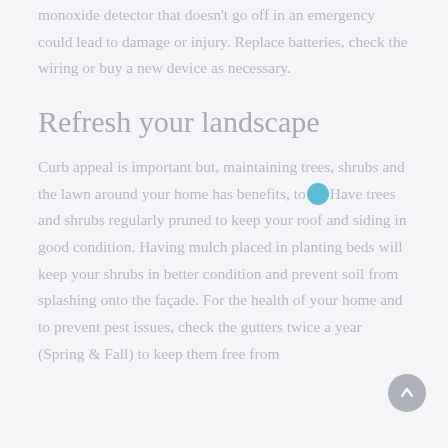monoxide detector that doesn't go off in an emergency could lead to damage or injury. Replace batteries, check the wiring or buy a new device as necessary.
Refresh your landscape
Curb appeal is important but, maintaining trees, shrubs and the lawn around your home has benefits, too. Have trees and shrubs regularly pruned to keep your roof and siding in good condition. Having mulch placed in planting beds will keep your shrubs in better condition and prevent soil from splashing onto the façade. For the health of your home and to prevent pest issues, check the gutters twice a year (Spring & Fall) to keep them free from